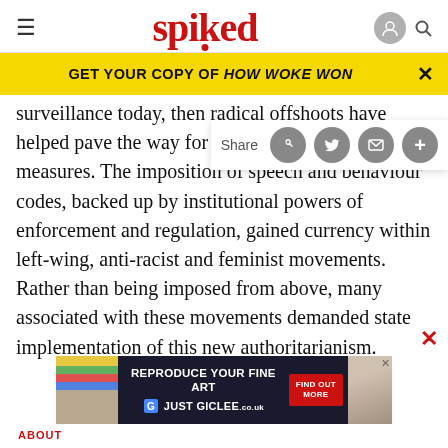spiked
GET YOUR COPY OF HOW WOKE WON
surveillance today, then radical offshoots have helped pave the way for the acceptance of such measures. The imposition of speech and behaviour codes, backed up by institutional powers of enforcement and regulation, gained currency within left-wing, anti-racist and feminist movements. Rather than being imposed from above, many associated with these movements demanded state implementation of this new authoritarianism.
[Figure (screenshot): Bottom advertisement banner: REPRODUCE YOUR FINE ART / JUST GICLEE with FIND OUT MORE button]
ABOUT